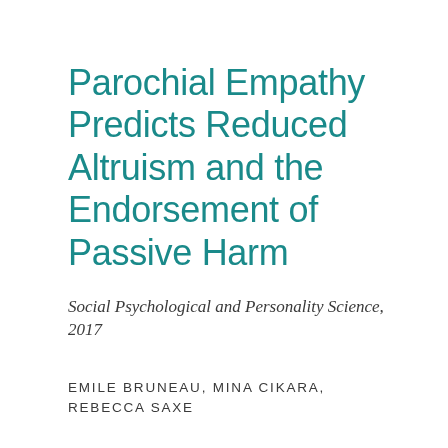Parochial Empathy Predicts Reduced Altruism and the Endorsement of Passive Harm
Social Psychological and Personality Science, 2017
EMILE BRUNEAU, MINA CIKARA, REBECCA SAXE